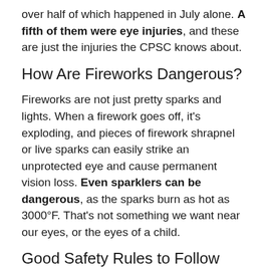over half of which happened in July alone. A fifth of them were eye injuries, and these are just the injuries the CPSC knows about.
How Are Fireworks Dangerous?
Fireworks are not just pretty sparks and lights. When a firework goes off, it's exploding, and pieces of firework shrapnel or live sparks can easily strike an unprotected eye and cause permanent vision loss. Even sparklers can be dangerous, as the sparks burn as hot as 3000°F. That's not something we want near our eyes, or the eyes of a child.
Good Safety Rules to Follow
The safest way to enjoy fireworks is not to handle them at all, but to watch a professional fireworks show from a safe distance. However, if you do end up buying some fireworks of your own, make sure to